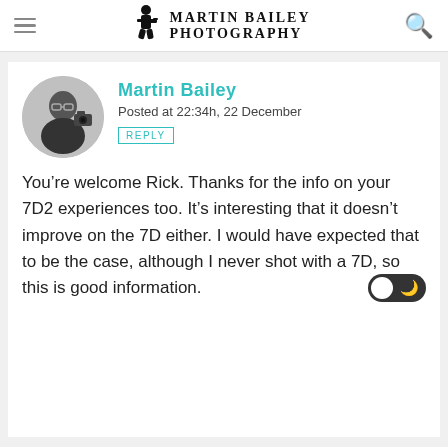Martin Bailey Photography
Martin Bailey
Posted at 22:34h, 22 December
REPLY
You're welcome Rick. Thanks for the info on your 7D2 experiences too. It's interesting that it doesn't improve on the 7D either. I would have expected that to be the case, although I never shot with a 7D, so this is good information.